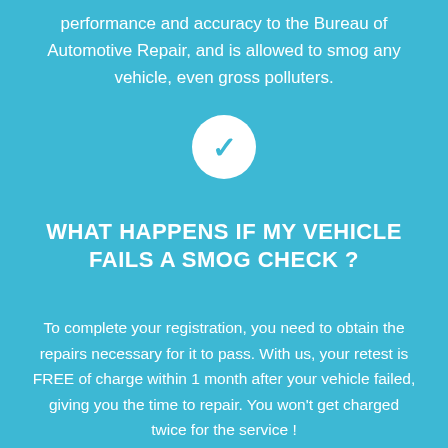performance and accuracy to the Bureau of Automotive Repair, and is allowed to smog any vehicle, even gross polluters.
[Figure (logo): White circle with a blue checkmark/V icon inside, centered on the page]
WHAT HAPPENS IF MY VEHICLE FAILS A SMOG CHECK ?
To complete your registration, you need to obtain the repairs necessary for it to pass. With us, your retest is FREE of charge within 1 month after your vehicle failed, giving you the time to repair. You won't get charged twice for the service !